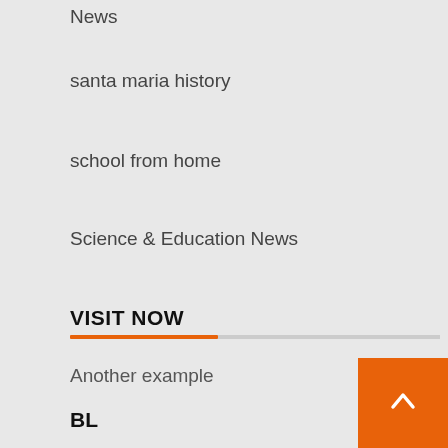News
santa maria history
school from home
Science & Education News
VISIT NOW
Another example
BL
TL
[Figure (illustration): Orange back-to-top arrow button in bottom right corner]
[Figure (illustration): Blue circular icon partially visible at bottom left]